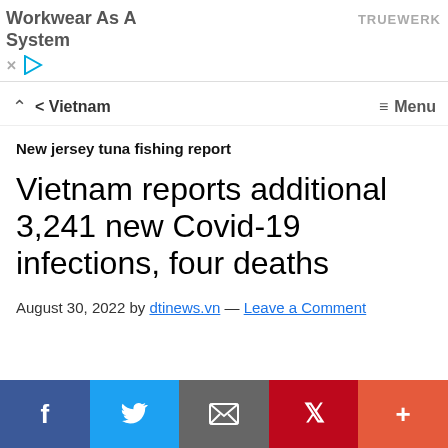[Figure (other): Advertisement banner: 'Workkwear As A System' with TRUEWERK brand logo on the right, close X and play button controls at bottom left]
< Vietnam   ≡ Menu
New jersey tuna fishing report
Vietnam reports additional 3,241 new Covid-19 infections, four deaths
August 30, 2022 by dtinews.vn — Leave a Comment
[Figure (other): Social sharing bar with Facebook, Twitter, Email, Pinterest and More buttons]